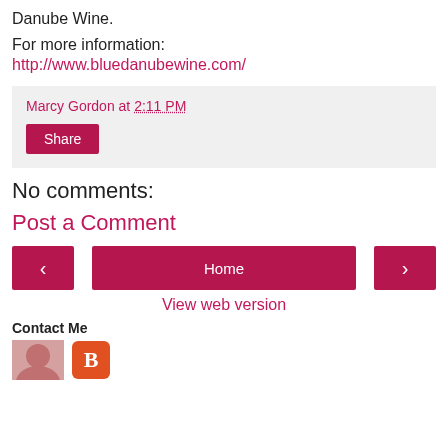Danube Wine.
For more information:
http://www.bluedanubewine.com/
Marcy Gordon at 2:11 PM
Share
No comments:
Post a Comment
Home
View web version
Contact Me